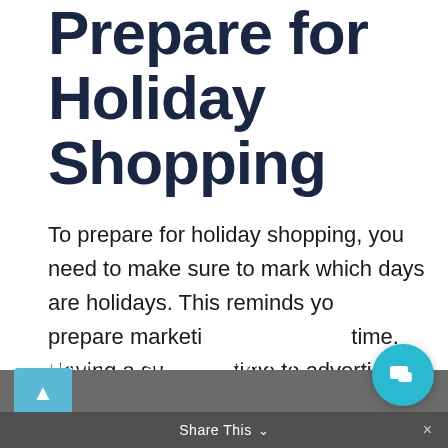Prepare for Holiday Shopping
To prepare for holiday shopping, you need to make sure to mark which days are holidays. This reminds you to prepare marketing materials in time. Having a sufficient time to advertise can ensure that your customers are reminded to shop for them and when to shop for them.
[Figure (screenshot): Chat popup widget with avatar icon, close button (×), greeting 'Hey! 👋' and message 'Are you ready to solve your business' branding & marketing problems?']
Another reason to prepare for holiday shopping is to make sure that your
Share This ∨